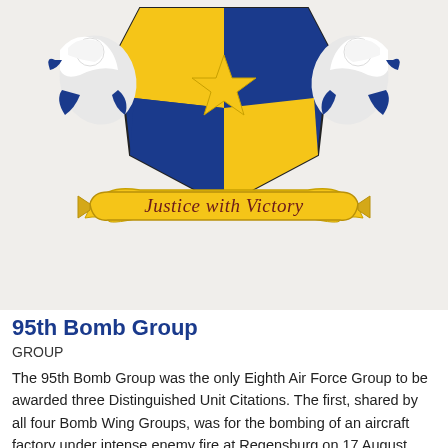[Figure (illustration): Partial view of the 95th Bomb Group military emblem/coat of arms. Shows a blue and yellow shield with a yellow star, flanked by two white bird figures (possibly eagles) with blue accents on either side. Below the shield is a yellow banner/ribbon with the motto 'Justice with Victory' written in dark cursive script. The background below the shield is white/light gray.]
95th Bomb Group
GROUP
The 95th Bomb Group was the only Eighth Air Force Group to be awarded three Distinguished Unit Citations. The first, shared by all four Bomb Wing Groups, was for the bombing of an aircraft factory under intense enemy fire at Regensburg on 17 August...